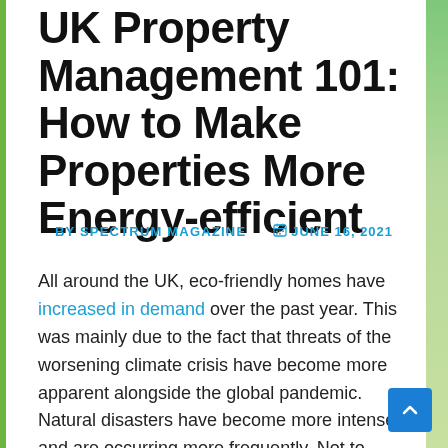UK Property Management 101: How to Make Properties More Energy-efficient
BY SPECTRUM MAGAZINE   JUNE 16, 2021
All around the UK, eco-friendly homes have increased in demand over the past year. This was mainly due to the fact that threats of the worsening climate crisis have become more apparent alongside the global pandemic. Natural disasters have become more intense and are occurring more frequently. Not to